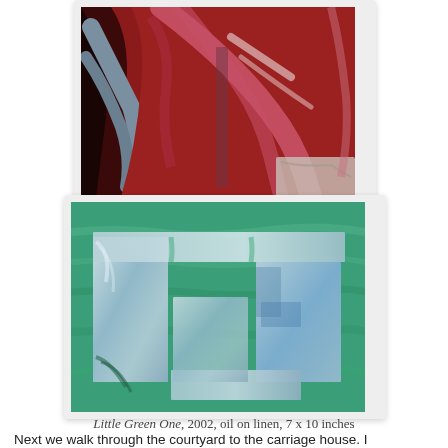[Figure (photo): Abstract painting with swirling red, dark maroon, grey-blue, pink and white brushstrokes on canvas]
[Figure (photo): Abstract painting 'Little Green One' dominated by teal/mint green paint with geometric rectangular cutout shapes revealing silvery-blue underlayers, on linen]
Little Green One, 2002, oil on linen, 7 x 10 inches
Next we walk through the courtyard to the carriage house. I